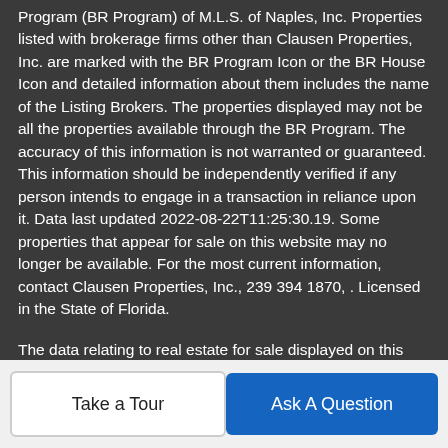Program (BR Program) of M.L.S. of Naples, Inc. Properties listed with brokerage firms other than Clausen Properties, Inc. are marked with the BR Program Icon or the BR House Icon and detailed information about them includes the name of the Listing Brokers. The properties displayed may not be all the properties available through the BR Program. The accuracy of this information is not warranted or guaranteed. This information should be independently verified if any person intends to engage in a transaction in reliance upon it. Data last updated 2022-08-22T11:25:30.19. Some properties that appear for sale on this website may no longer be available. For the most current information, contact Clausen Properties, Inc., 239 394 1870, . Licensed in the State of Florida.
The data relating to real estate for sale displayed on this Website comes in part from the Multiple Listing Service of the Bonita Springs-Estero Association of REALTORS®, Inc., under License No. 3035763. Properties displayed on this Website include properties listed with brokerage firms other than Clausen
Take a Tour
Ask A Question